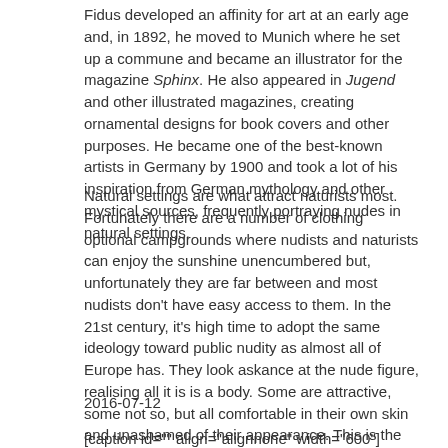Fidus developed an affinity for art at an early age and, in 1892, he moved to Munich where he set up a commune and became an illustrator for the magazine Sphinx. He also appeared in Jugend and other illustrated magazines, creating ornamental designs for book covers and other purposes. He became one of the best-known artists in Germany by 1900 and took a lot of his inspiration from German mythology and other mystical sources, frequently portraying nudes in natural settings.
Natural settings are what attract naturists most. Fortunately there are a number of clothing optional campgrounds where nudists and naturists can enjoy the sunshine unencumbered but, unfortunately they are far between and most nudists don't have easy access to them. In the 21st century, it's high time to adopt the same ideology toward public nudity as almost all of Europe has. They look askance at the nude figure, realising all it is is a body. Some are attractive, some not so, but all comfortable in their own skin and unashamed of their appearance. This is the hallmark of the nudist lifestyle. Everyone must learn to appreciate the body they have before they can be comfortable showing it to someone else, usually a stranger.
2016-07-12
[caption id="" align="alignnone" width="600"]